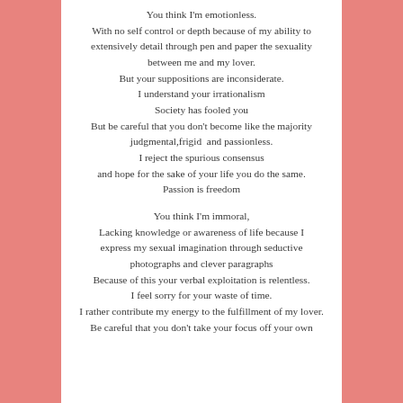You think I'm emotionless.
With no self control or depth because of my ability to extensively detail through pen and paper the sexuality between me and my lover.
But your suppositions are inconsiderate.
I understand your irrationalism
Society has fooled you
But be careful that you don't become like the majority judgmental,frigid  and passionless.
I reject the spurious consensus
and hope for the sake of your life you do the same.
Passion is freedom

You think I'm immoral,
Lacking knowledge or awareness of life because I express my sexual imagination through seductive photographs and clever paragraphs
Because of this your verbal exploitation is relentless.
I feel sorry for your waste of time.
I rather contribute my energy to the fulfillment of my lover.
Be careful that you don't take your focus off your own